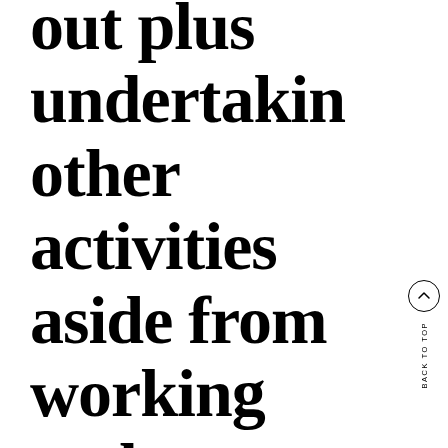out plus undertaking other activities aside from working and spending time with individuals